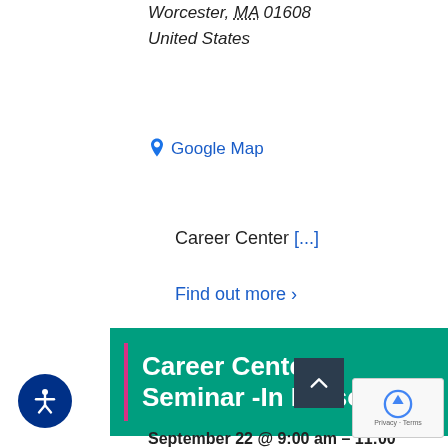Worcester, MA 01608
United States
Google Map
Career Center [...]
Find out more ›
[Figure (other): Green banner with pink vertical bar and white bold text reading 'Career Center Seminar -In Perso' (truncated)]
September 22 @ 9:00 am - 11:00